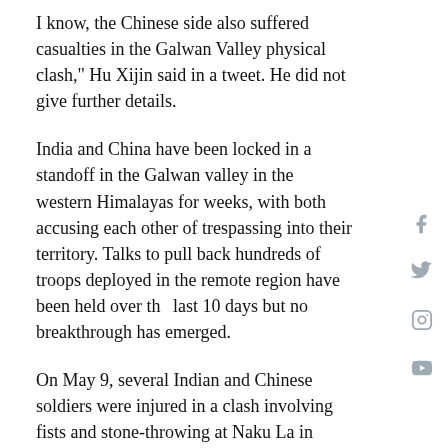I know, the Chinese side also suffered casualties in the Galwan Valley physical clash," Hu Xijin said in a tweet. He did not give further details.
India and China have been locked in a standoff in the Galwan valley in the western Himalayas for weeks, with both accusing each other of trespassing into their territory. Talks to pull back hundreds of troops deployed in the remote region have been held over the last 10 days but no breakthrough has emerged.
On May 9, several Indian and Chinese soldiers were injured in a clash involving fists and stone-throwing at Naku La in India's Sikkim state, which borders Bhutan, Nepal and China. But the Chinese foreign ministry said only last week that a "positive consensus" had been reached following "effective communication" through diplomatic and military channels. In a later statement, India's foreign ministry said the two sides would "continue with military and diplomatic engagements to resolve the situation and to ensure peace and tranquillity in the border areas." However, Indian sources and news reports suggested that Chinese troops remained